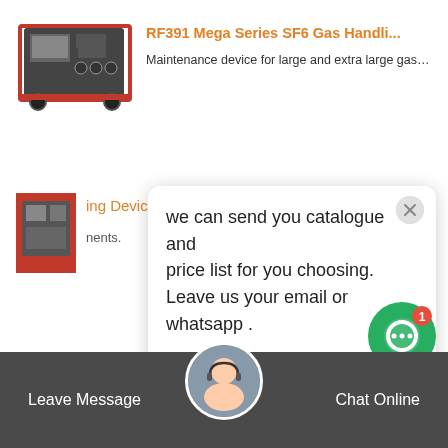[Figure (screenshot): Product listing card for RF391 Mega Series SF6 Gas Handling device with product image on left and orange title and description on right]
RF391 Mega Series SF6 Gas Handli...
Maintenance device for large and extra large gas…
[Figure (screenshot): Chat popup overlay with message: we can send you catalogue and price list for you choosing. Leave us your email or whatsapp . From SF6 Expert just now. Reply input bar with thumbs up and paperclip icons.]
we can send you catalogue and price list for you choosing. Leave us your email or whatsapp .
SF6 Expert
just now
Write a reply..
[Figure (screenshot): Green circular chat icon with white speech bubble and red badge showing number 1]
ing Devices
nents.
itoring.
Related News
foremost Huazheng SF6 carts
Leave Message
Chat Online